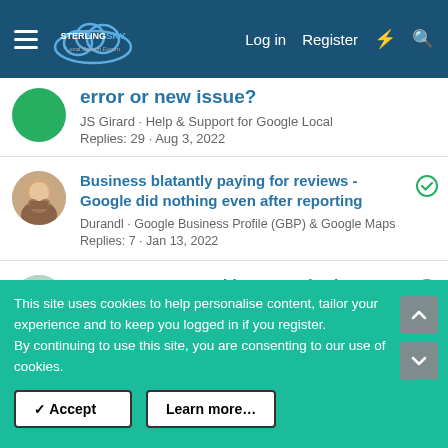Sterling Sky Local Search Forum — Log in | Register
error or new issue?
JS Girard · Help & Support for Google Local
Replies: 29 · Aug 3, 2022
Business blatantly paying for reviews - Google did nothing even after reporting
Durandl · Google Business Profile (GBP) & Google Maps
Replies: 7 · Jan 13, 2022
How to segment Paid vs Organic views
Lachlan_Wells · Paid Search and Local Service Ads
Replies: 3 · Jun 9, 2021
This site uses cookies to help personalise content, tailor your experience and to keep you logged in if you register.
By continuing to use this site, you are consenting to our use of cookies.